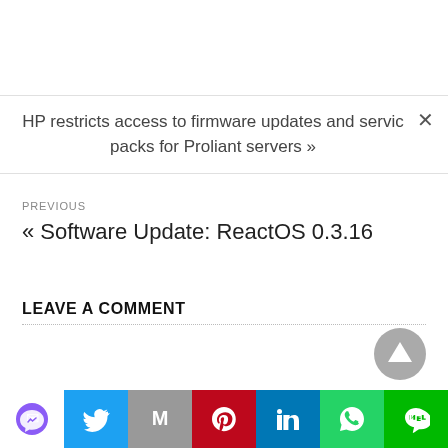HP restricts access to firmware updates and service packs for Proliant servers »
PREVIOUS
« Software Update: ReactOS 0.3.16
LEAVE A COMMENT
[Figure (other): Scroll-to-top button — grey circle with upward triangle arrow]
[Figure (other): Social sharing bar with icons: Messenger, Twitter, Gmail, Pinterest, LinkedIn, WhatsApp, LINE]